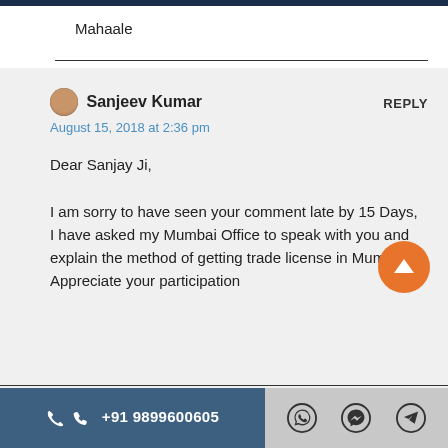Mahaale
Sanjeev Kumar
August 15, 2018 at 2:36 pm
REPLY
Dear Sanjay Ji,

I am sorry to have seen your comment late by 15 Days, I have asked my Mumbai Office to speak with you and explain the method of getting trade license in Mumbai. Appreciate your participation
+91 9899600605